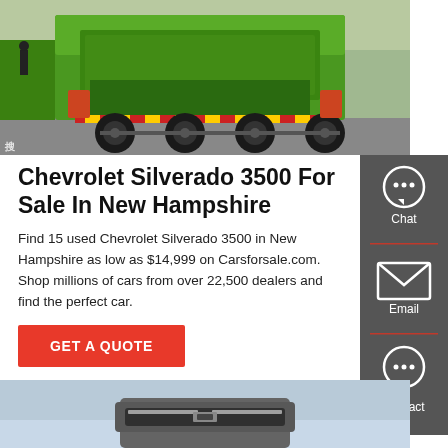[Figure (photo): Green garbage/refuse truck photographed from behind/side in a parking area, with multiple large wheels visible and red/yellow reflective striping]
Chevrolet Silverado 3500 For Sale In New Hampshire
Find 15 used Chevrolet Silverado 3500 in New Hampshire as low as $14,999 on Carsforsale.com. Shop millions of cars from over 22,500 dealers and find the perfect car.
[Figure (photo): Partial view of a silver/grey modern truck or vehicle, bottom portion visible]
GET A QUOTE